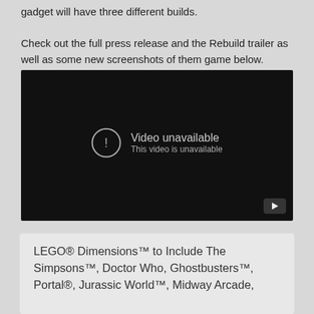gadget will have three different builds.

Check out the full press release and the Rebuild trailer as well as some new screenshots of them game below.
[Figure (screenshot): Embedded YouTube video player showing 'Video unavailable' message with exclamation icon and YouTube play button in bottom-right corner. Black background.]
LEGO® Dimensions™ to Include The Simpsons™, Doctor Who, Ghostbusters™, Portal®, Jurassic World™, Midway Arcade,